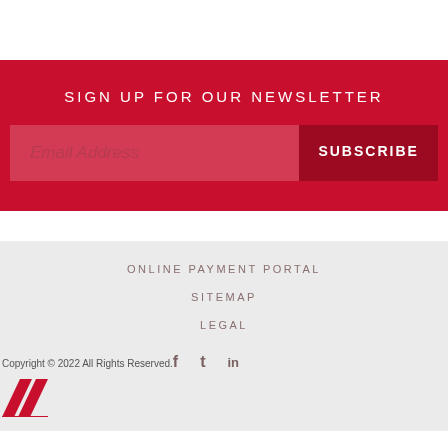SIGN UP FOR OUR NEWSLETTER
Email Address
SUBSCRIBE
ONLINE PAYMENT PORTAL
SITEMAP
LEGAL
Copyright © 2022 All Rights Reserved.